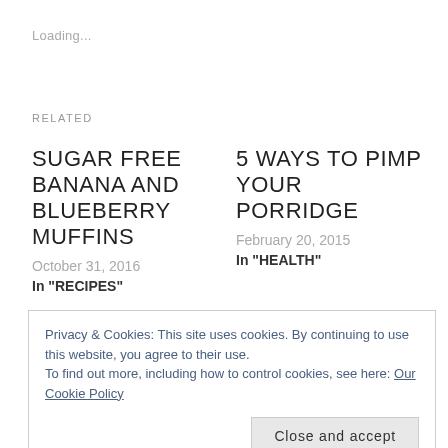Loading...
RELATED
SUGAR FREE BANANA AND BLUEBERRY MUFFINS
October 31, 2016
In "RECIPES"
5 WAYS TO PIMP YOUR PORRIDGE
February 20, 2015
In "HEALTH"
COCONUT
Privacy & Cookies: This site uses cookies. By continuing to use this website, you agree to their use.
To find out more, including how to control cookies, see here: Our Cookie Policy
Close and accept